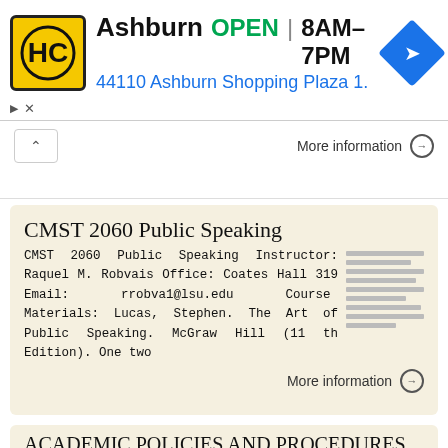[Figure (screenshot): Ad banner for Ashburn HC store: logo, OPEN 8AM-7PM, address 44110 Ashburn Shopping Plaza 1., navigation icon]
More information →
CMST 2060 Public Speaking
CMST 2060 Public Speaking Instructor: Raquel M. Robvais Office: Coates Hall 319 Email: rrobva1@lsu.edu Course Materials: Lucas, Stephen. The Art of Public Speaking. McGraw Hill (11 th Edition). One two
More information →
ACADEMIC POLICIES AND PROCEDURES
ACADEMIC INTEGRITY OF STUDENTS Academic integrity is the foundation of the University of South Florida s commitment to